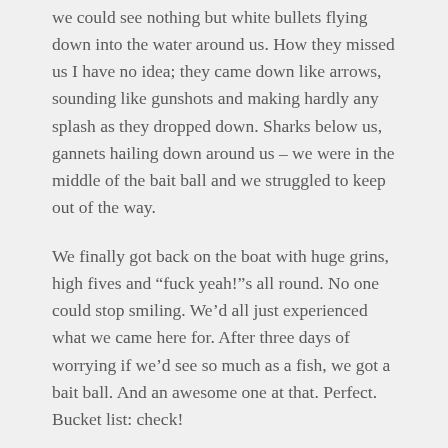we could see nothing but white bullets flying down into the water around us. How they missed us I have no idea; they came down like arrows, sounding like gunshots and making hardly any splash as they dropped down. Sharks below us, gannets hailing down around us – we were in the middle of the bait ball and we struggled to keep out of the way.
We finally got back on the boat with huge grins, high fives and “fuck yeah!”s all round. No one could stop smiling. We’d all just experienced what we came here for. After three days of worrying if we’d see so much as a fish, we got a bait ball. And an awesome one at that. Perfect. Bucket list: check!
Happy home
We headed back to the lodge after that. There was no topping it, anyway. After showers and dinner, there were celebratory